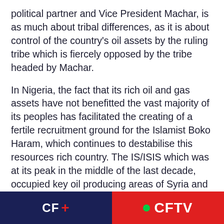political partner and Vice President Machar, is as much about tribal differences, as it is about control of the country's oil assets by the ruling tribe which is fiercely opposed by the tribe headed by Machar.
In Nigeria, the fact that its rich oil and gas assets have not benefitted the vast majority of its peoples has facilitated the creating of a fertile recruitment ground for the Islamist Boko Haram, which continues to destabilise this resources rich country. The IS/ISIS which was at its peak in the middle of the last decade, occupied key oil producing areas of Syria and oil refining facilities in Iraq. Without its access to this oil wealth and the revenues it generated being surreptitiously sold through middle
CF + CFTV